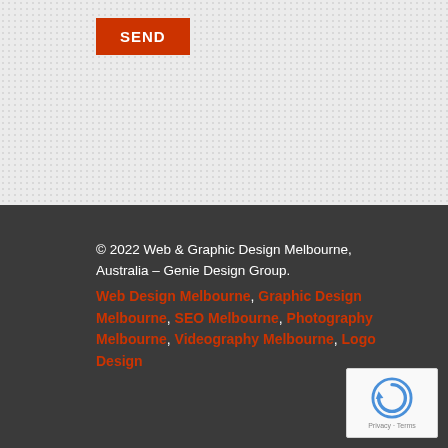[Figure (other): SEND button on a light dotted/textured background]
© 2022 Web & Graphic Design Melbourne, Australia – Genie Design Group.
Web Design Melbourne, Graphic Design Melbourne, SEO Melbourne, Photography Melbourne, Videography Melbourne, Logo Design
[Figure (other): reCAPTCHA widget showing recaptcha logo with Privacy and Terms links]